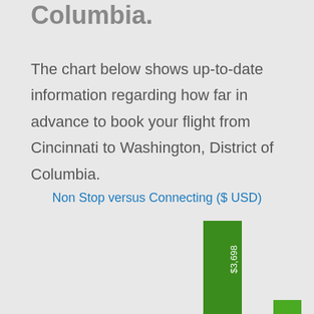Columbia.
The chart below shows up-to-date information regarding how far in advance to book your flight from Cincinnati to Washington, District of Columbia.
[Figure (bar-chart): Non Stop versus Connecting ($ USD)]